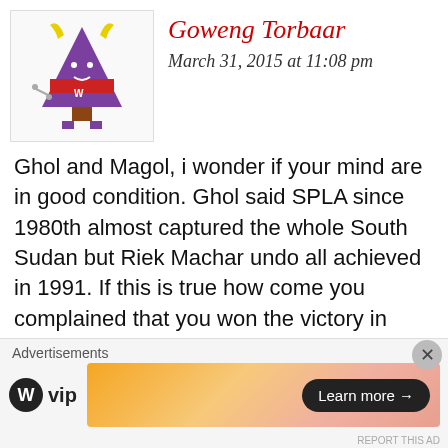[Figure (illustration): Avatar of a cartoon purple Christmas tree character with yellow horns and red middle section, on a white background]
Goweng Torbaar
March 31, 2015 at 11:08 pm
Ghol and Magol, i wonder if your mind are in good condition. Ghol said SPLA since 1980th almost captured the whole South Sudan but Riek Machar undo all achieved in 1991. If this is true how come you complained that you won the victory in 1991 war can you see if this two are matching? Yes i can agree with you that a sanction may affected citizen but they are already affected. I know this sanction is to individual but those individual will grape money from local citizen for the pocket money which will
Advertisements
[Figure (logo): WordPress VIP logo with W circle icon and 'vip' text]
[Figure (infographic): Advertisement banner with gradient orange/pink background and 'Learn more →' button]